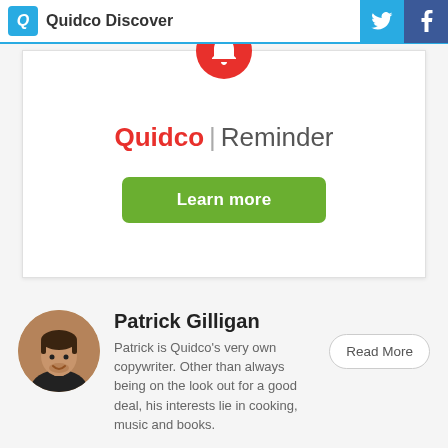Quidco Discover
[Figure (logo): Quidco Reminder banner with red bell icon, Quidco red logo text, pipe separator, Reminder text in grey, and a green Learn more button]
Patrick Gilligan
Patrick is Quidco's very own copywriter. Other than always being on the look out for a good deal, his interests lie in cooking, music and books.